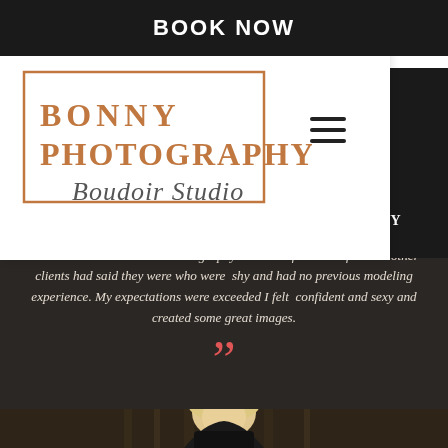BOOK NOW
[Figure (logo): Bonny Photography Boudoir Studio logo with rose-gold border box and script text]
BONNY ir style and creativity. I seen previous clients work and knew I wanted my own session. I choose BONNY Photography because of how comfortable other clients had said they were who were shy and had no previous modeling experience. My expectations were exceeded I felt confident and sexy and created some great images.
[Figure (photo): Portrait photo of a blonde woman at the bottom of the page]